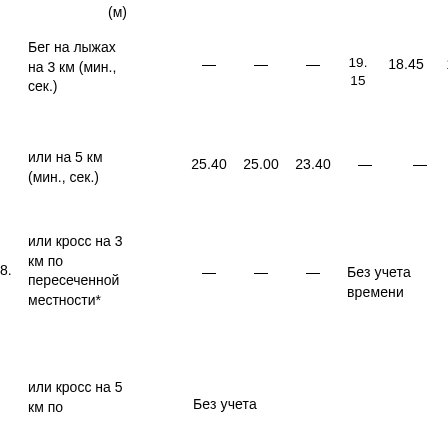(м)
Бег на лыжах на 3 км (мин., сек.)    —    —    —    19.15    18.45    17.30
или на 5 км (мин., сек.)    25.40    25.00    23.40    —    —    —
8.   или кросс на 3 км по пересеченной местности*    —    —    —    Без учета времени
или кросс на 5 км по    Без учета